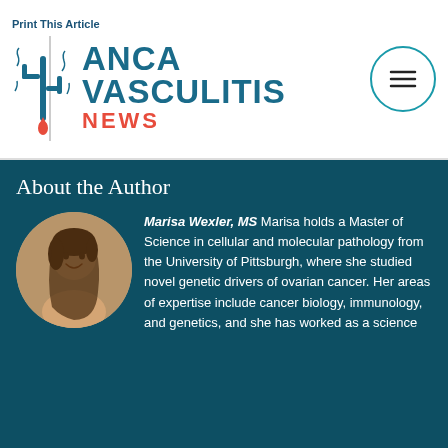Print This Article | ANCA VASCULITIS NEWS
About the Author
[Figure (photo): Circular portrait photo of Marisa Wexler, a woman with dark hair pulled back, smiling]
Marisa Wexler, MS Marisa holds a Master of Science in cellular and molecular pathology from the University of Pittsburgh, where she studied novel genetic drivers of ovarian cancer. Her areas of expertise include cancer biology, immunology, and genetics, and she has worked as a science
We use cookies to enhance your experience on our website. Privacy Policy ACCEPT